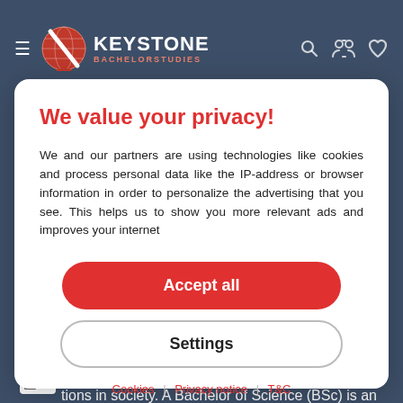[Figure (logo): Keystone Bachelor Studies logo with hamburger menu, globe icon, and nav icons on dark blue background]
We value your privacy!
We and our partners are using technologies like cookies and process personal data like the IP-address or browser information in order to personalize the advertising that you see. This helps us to show you more relevant ads and improves your internet
Accept all
Settings
Cookies | Privacy notice | T&C
ucation is an important step for those seeking leadership tions in society. A Bachelor of Science (BSc) is an